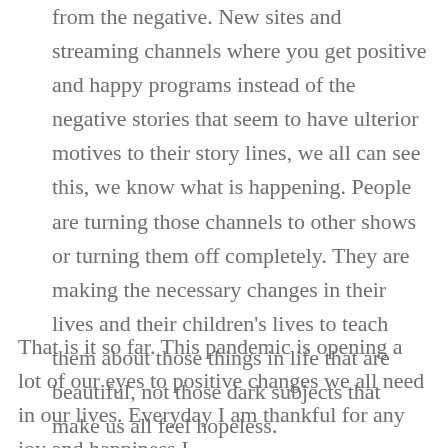from the negative. New sites and streaming channels where you get positive and happy programs instead of the negative stories that seem to have ulterior motives to their story lines, we all can see this, we know what is happening. People are turning those channels to other shows or turning them off completely. They are making the necessary changes in their lives and their children's lives to teach them about those things in life that are beautiful, not those dark subjects that make us all feel hopeless.
That is it so far. This pandemic is opening a lot of our eyes to positive changes we all need in our lives. Everyday I am thankful for any joy and happiness I